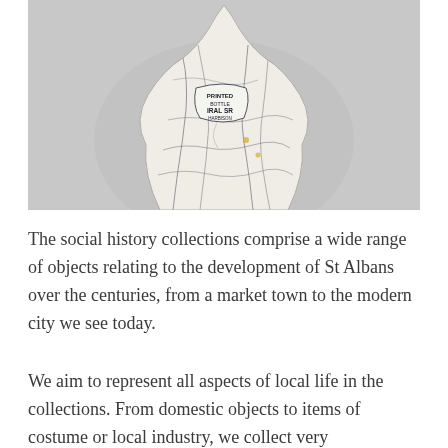[Figure (photo): A white ceramic vase with a marble-like crackle pattern in dark grey/blue veining and a printed label on the body, set against a light grey background. The vase has a narrow neck and rounded body.]
The social history collections comprise a wide range of objects relating to the development of St Albans over the centuries, from a market town to the modern city we see today.
We aim to represent all aspects of local life in the collections. From domestic objects to items of costume or local industry, we collect very